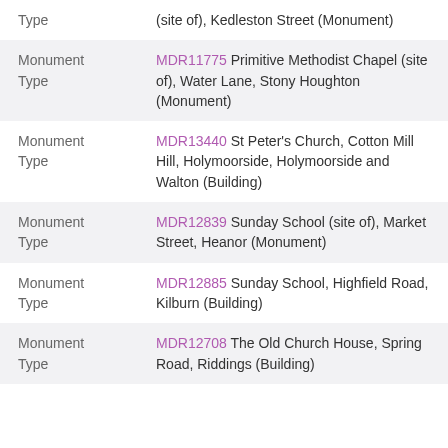| Type | Value |
| --- | --- |
| Type | (site of), Kedleston Street (Monument) |
| Monument Type | MDR11775 Primitive Methodist Chapel (site of), Water Lane, Stony Houghton (Monument) |
| Monument Type | MDR13440 St Peter's Church, Cotton Mill Hill, Holymoorside, Holymoorside and Walton (Building) |
| Monument Type | MDR12839 Sunday School (site of), Market Street, Heanor (Monument) |
| Monument Type | MDR12885 Sunday School, Highfield Road, Kilburn (Building) |
| Monument Type | MDR12708 The Old Church House, Spring Road, Riddings (Building) |